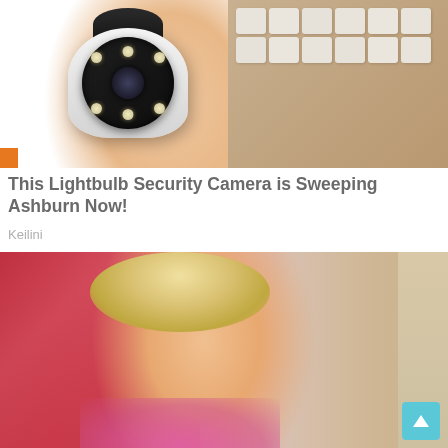[Figure (photo): A hand holding a small white lightbulb security camera with a circular lens array and multiple LED lights around the lens. Background shows cardboard boxes.]
This Lightbulb Security Camera is Sweeping Ashburn Now!
Keilini
[Figure (photo): A blonde woman in a pink blazer looking upward, appearing to be on a TV talk show set. Background shows a colorful crowd scene and vanity mirror-style lighting dots on the right side.]